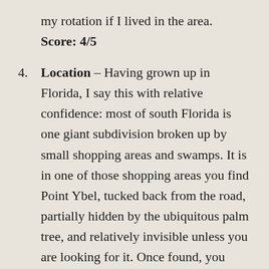my rotation if I lived in the area. Score: 4/5
Location – Having grown up in Florida, I say this with relative confidence: most of south Florida is one giant subdivision broken up by small shopping areas and swamps. It is in one of those shopping areas you find Point Ybel, tucked back from the road, partially hidden by the ubiquitous palm tree, and relatively invisible unless you are looking for it. Once found, you should have no issues with parking any time of day. The area is not what I would consider bike or